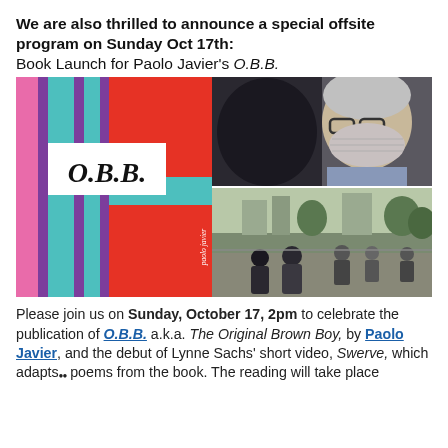We are also thrilled to announce a special offsite program on Sunday Oct 17th: Book Launch for Paolo Javier's O.B.B.
[Figure (photo): Composite image: left side shows the colorful book cover of O.B.B. with bold stripes in pink, teal, purple, and red, with 'OBB' label and 'paolo javier' text. Top right shows a person wearing a mask with glasses. Bottom right shows an outdoor street scene with people gathered.]
Please join us on Sunday, October 17, 2pm to celebrate the publication of O.B.B. a.k.a. The Original Brown Boy, by Paolo Javier, and the debut of Lynne Sachs' short video, Swerve, which adapts poems from the book. The reading will take place